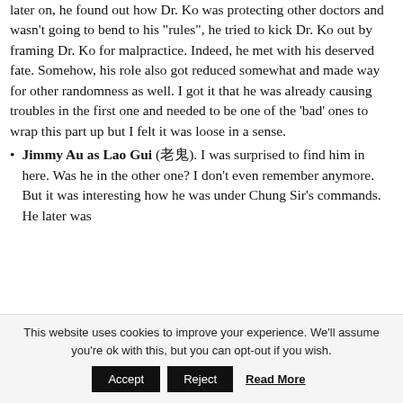later on, he found out how Dr. Ko was protecting other doctors and wasn't going to bend to his "rules", he tried to kick Dr. Ko out by framing Dr. Ko for malpractice. Indeed, he met with his deserved fate. Somehow, his role also got reduced somewhat and made way for other randomness as well. I got it that he was already causing troubles in the first one and needed to be one of the 'bad' ones to wrap this part up but I felt it was loose in a sense.
Jimmy Au as Lao Gui (老鬼). I was surprised to find him in here. Was he in the other one? I don't even remember anymore. But it was interesting how he was under Chung Sir's commands. He later was
This website uses cookies to improve your experience. We'll assume you're ok with this, but you can opt-out if you wish.